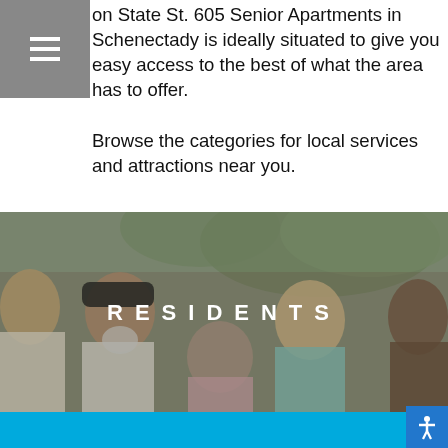[Figure (other): Hamburger/menu icon (three horizontal lines) on grey background in upper left corner]
...on State St. 605 Senior Apartments in Schenectady is ideally situated to give you easy access to the best of what the area has to offer. Browse the categories for local services and attractions near you.
[Figure (photo): Group of smiling senior adults outdoors with trees in background, with the word RESIDENTS overlaid in white spaced-out letters in the center of the image]
RESIDENTS